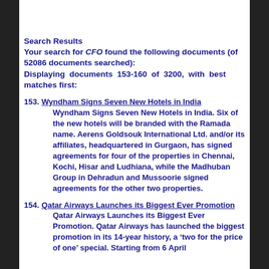Search Results
Your search for CFO found the following documents (of 52086 documents searched):
Displaying documents 153-160 of 3200, with best matches first:
153. Wyndham Signs Seven New Hotels in India
Wyndham Signs Seven New Hotels in India. Six of the new hotels will be branded with the Ramada name. Aerens Goldsouk International Ltd. and/or its affiliates, headquartered in Gurgaon, has signed agreements for four of the properties in Chennai, Kochi, Hisar and Ludhiana, while the Madhuban Group in Dehradun and Mussoorie signed agreements for the other two properties.
154. Qatar Airways Launches its Biggest Ever Promotion
Qatar Airways Launches its Biggest Ever Promotion. Qatar Airways has launched the biggest promotion in its 14-year history, a ‘two for the price of one’ special. Starting from 6 April